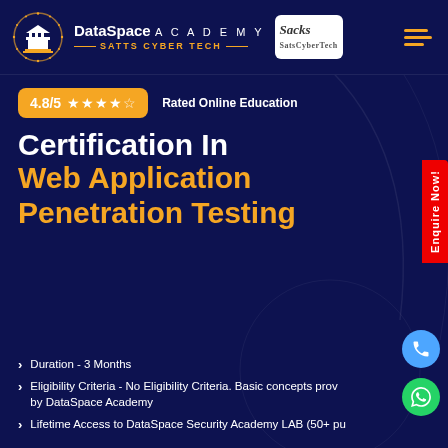DataSpace ACADEMY — SATTS CYBER TECH —
4.8/5 ★★★★☆ Rated Online Education
Certification In Web Application Penetration Testing
Duration - 3 Months
Eligibility Criteria - No Eligibility Criteria. Basic concepts provided by DataSpace Academy
Lifetime Access to DataSpace Security Academy LAB (50+ put,